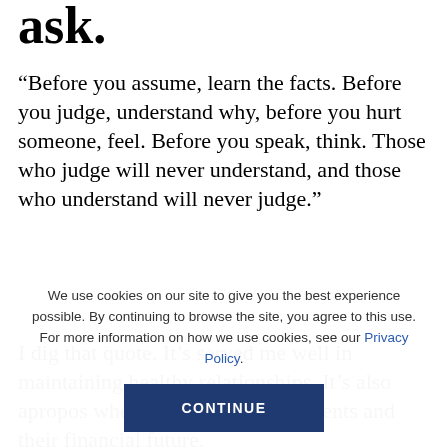ask.
“Before you assume, learn the facts. Before you judge, understand why, before you hurt someone, feel. Before you speak, think. Those who judge will never understand, and those who understand will never judge.”
I dig that quote. It’s served me well in maintaining healthy relationships. It’s also apropos when it comes to your parents and their financial future.
We use cookies on our site to give you the best experience possible. By continuing to browse the site, you agree to this use. For more information on how we use cookies, see our Privacy Policy.
CONTINUE